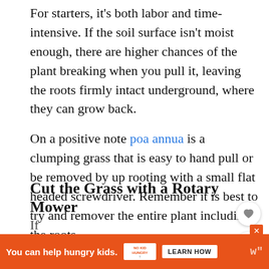For starters, it's both labor and time-intensive. If the soil surface isn't moist enough, there are higher chances of the plant breaking when you pull it, leaving the roots firmly intact underground, where they can grow back.
On a positive note poa annua is a clumping grass that is easy to hand pull or be removed by up rooting with a small flat headed screwdriver. Remember it is best to try and remover the entire plant including the roots.
Cut the Grass with a Rotary Mower
[Figure (other): Heart/favorite icon button (circular white button with heart symbol)]
[Figure (other): Share icon button (circular white button with share symbol)]
[Figure (other): What's Next widget showing thumbnail image with label 'WHAT'S NEXT' and title 'How to Kill Weeds in...']
[Figure (other): Advertisement banner: 'You can help hungry kids.' No Kid Hungry logo with LEARN HOW button on orange background]